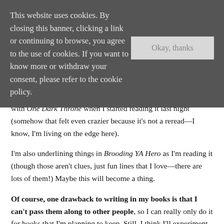This website uses cookies. By closing this banner, clicking a link or continuing to browse, you agree to the use of cookies. If you want to know more or withdraw your consent, please refer to the cookie policy.
Okay, thanks
with One Dark Throne when I started reading it last night (somehow that felt even crazier because it's not a reread—I know, I'm living on the edge here).
I'm also underlining things in Brooding YA Hero as I'm reading it (though those aren't clues, just fun lines that I love—there are lots of them!) Maybe this will become a thing.
Of course, one drawback to writing in my books is that I can't pass them along to other people, so I can really only do it for books that I'm planning to keep. Still, I think I'll experiment with this writing in books thing a bit more. We shall see...